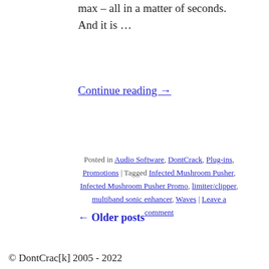max – all in a matter of seconds. And it is …
Continue reading →
Posted in Audio Software, DontCrack, Plug-ins, Promotions | Tagged Infected Mushroom Pusher, Infected Mushroom Pusher Promo, limiter/clipper, multiband sonic enhancer, Waves | Leave a comment
← Older posts
© DontCrac[k] 2005 - 2022